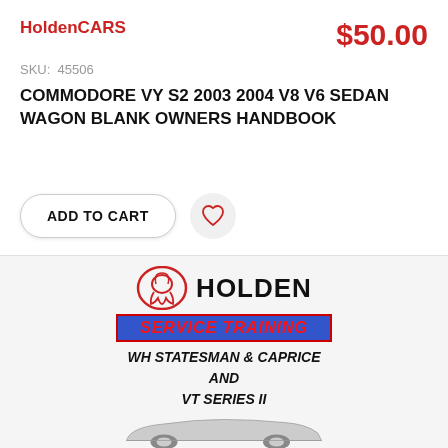HoldenCARS
$50.00
SKU:  45506
COMMODORE VY S2 2003 2004 V8 V6 SEDAN WAGON BLANK OWNERS HANDBOOK
[Figure (screenshot): Add to Cart button and wishlist heart icon button]
[Figure (illustration): Holden service training handbook cover showing Holden logo, SERVICE TRAINING banner in red on blue, WH STATESMAN & CAPRICE AND VT SERIES II text, and car silhouette]